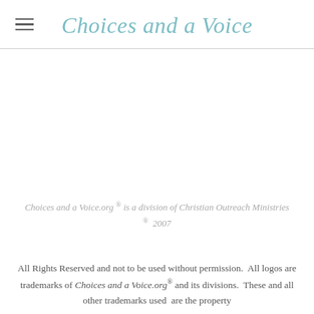Choices and a Voice
Choices and a Voice.org ® is a division of Christian Outreach Ministries ® 2007
All Rights Reserved and not to be used without permission. All logos are trademarks of Choices and a Voice.org® and its divisions. These and all other trademarks used are the property